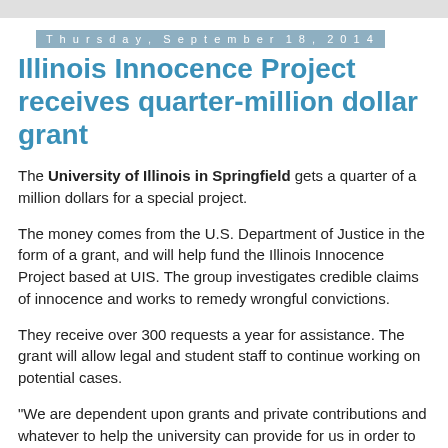Thursday, September 18, 2014
Illinois Innocence Project receives quarter-million dollar grant
The University of Illinois in Springfield gets a quarter of a million dollars for a special project.
The money comes from the U.S. Department of Justice in the form of a grant, and will help fund the Illinois Innocence Project based at UIS. The group investigates credible claims of innocence and works to remedy wrongful convictions.
They receive over 300 requests a year for assistance. The grant will allow legal and student staff to continue working on potential cases.
"We are dependent upon grants and private contributions and whatever to help the university can provide for us in order to fund the project. So this is going to help in terms of funding legal staff to take the cases," said Larry Golden,